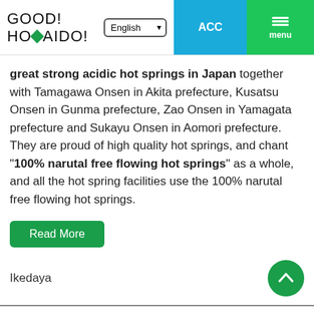GOOD! HOKKAIDO! — English | ACC | menu
great strong acidic hot springs in Japan together with Tamagawa Onsen in Akita prefecture, Kusatsu Onsen in Gunma prefecture, Zao Onsen in Yamagata prefecture and Sukayu Onsen in Aomori prefecture. They are proud of high quality hot springs, and chant "100% narutal free flowing hot springs" as a whole, and all the hot spring facilities use the 100% narutal free flowing hot springs.
Read More
Ikedaya
Yunokaku Ikedaya (湯の閣 池田屋)
HP | Booking | Jalan | Rakuten